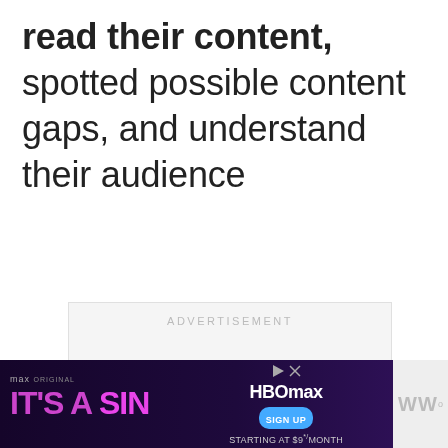read their content, spotted possible content gaps, and understand their audience
[Figure (other): Advertisement placeholder box with label 'ADVERTISEMENT' in light gray uppercase text on a light gray background]
[Figure (screenshot): Social media sidebar UI with blue heart/like button, number '2', and share button]
[Figure (screenshot): Bottom banner advertisement for HBO Max 'It's a Sin' - Max Original. Text reads: IT'S A SIN, HBOMAX SIGN UP STARTING AT $9*/MONTH with play/close buttons. Dark purple background.]